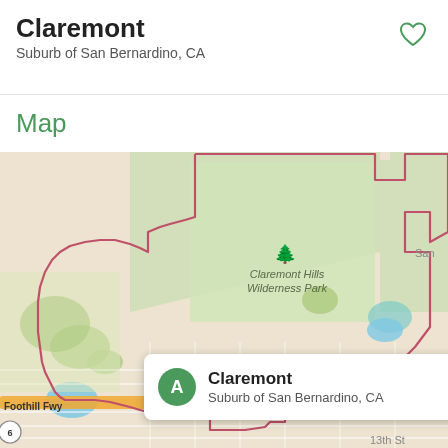Claremont
Suburb of San Bernardino, CA
Map
[Figure (map): Map of Claremont, CA showing city boundary outlined in red/pink, Claremont Hills Wilderness Park in green, street grid, Foothill Fwy / route 210, and a popup marker labeled A for Claremont, Suburb of San Bernardino, CA. Adjacent areas include San Bernardino region to the east and Foothill Fwy to the south.]